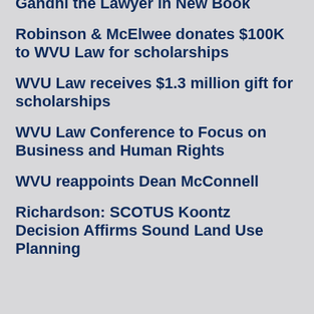Gandhi the Lawyer in New Book
Robinson & McElwee donates $100K to WVU Law for scholarships
WVU Law receives $1.3 million gift for scholarships
WVU Law Conference to Focus on Business and Human Rights
WVU reappoints Dean McConnell
Richardson: SCOTUS Koontz Decision Affirms Sound Land Use Planning